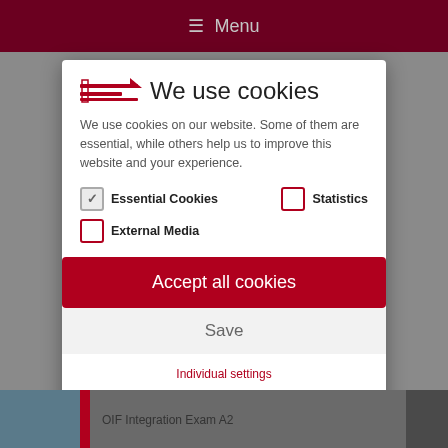Menu
We use cookies
We use cookies on our website. Some of them are essential, while others help us to improve this website and your experience.
Essential Cookies (checked)
Statistics (unchecked)
External Media (unchecked)
Accept all cookies
Save
Individual settings
Cookie details  |  Privacy statement
OIF Integration Exam A2